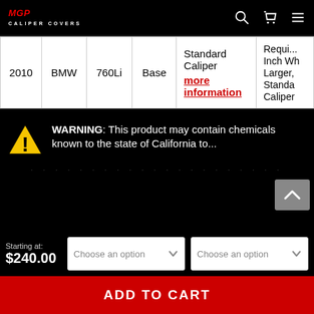MGP Caliper Covers
| Year | Make | Model | Submodel | Caliper Type | Note |
| --- | --- | --- | --- | --- | --- |
| 2010 | BMW | 760Li | Base | Standard Caliper more information | Requires Inch Wh Larger, Standa Caliper |
WARNING: This product may contain chemicals known to the state of California to cause cancer, birth defects or other reproductive harm.
Starting at: $240.00
Choose an option | Choose an option
ADD TO CART